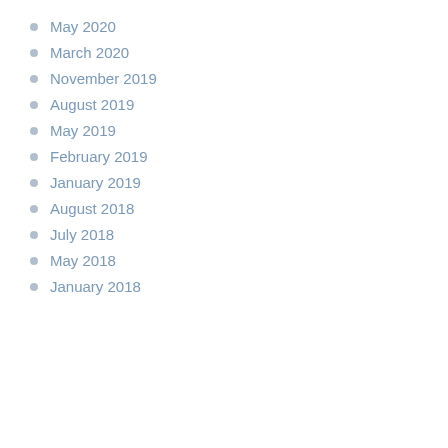May 2020
March 2020
November 2019
August 2019
May 2019
February 2019
January 2019
August 2018
July 2018
May 2018
January 2018